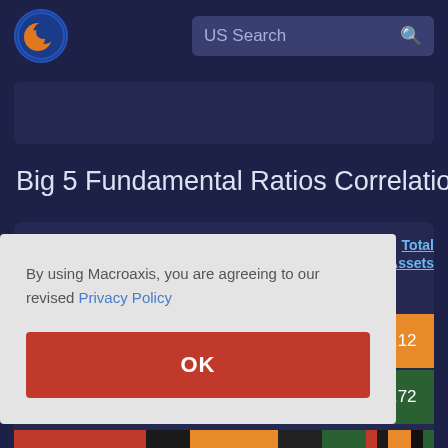[Figure (logo): Macroaxis globe logo — orange and blue circular icon]
US Search
[Figure (screenshot): Dark banner/advertisement placeholder area]
Big 5 Fundamental Ratios Correlations
[Figure (screenshot): Partial table with column header 'Total Assets' and data cells showing 0.12 and 0.72 with orange and dark green backgrounds]
By using Macroaxis, you are agreeing to our revised Privacy Policy
OK